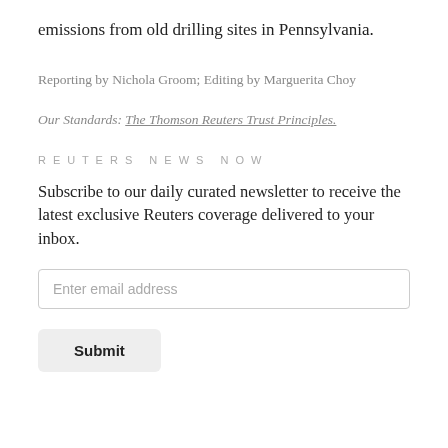emissions from old drilling sites in Pennsylvania.
Reporting by Nichola Groom; Editing by Marguerita Choy
Our Standards: The Thomson Reuters Trust Principles.
REUTERS NEWS NOW
Subscribe to our daily curated newsletter to receive the latest exclusive Reuters coverage delivered to your inbox.
Enter email address
Submit